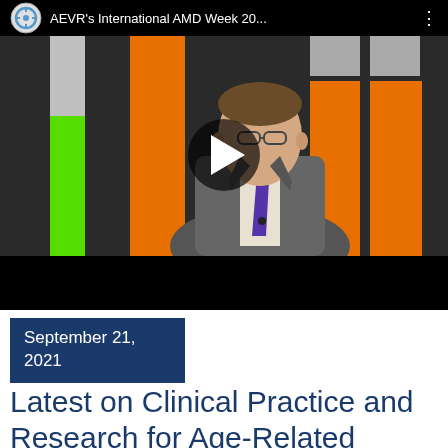[Figure (screenshot): YouTube video thumbnail showing a man in a suit with blue tie standing in front of colorful orange and green backgrounds. The video bar at top shows 'AEVR's International AMD Week 20...' with a YouTube-style logo. A play button is overlaid in the center. A black progress bar area is at the bottom.]
September 21, 2021
Latest on Clinical Practice and Research for Age-Related